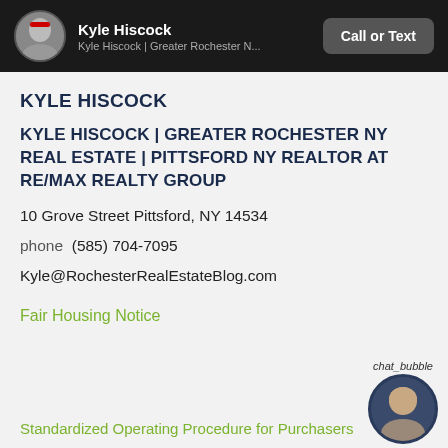Kyle Hiscock | Kyle Hiscock | Greater Rochester N... | Call or Text
KYLE HISCOCK
KYLE HISCOCK | GREATER ROCHESTER NY REAL ESTATE | PITTSFORD NY REALTOR AT RE/MAX REALTY GROUP
10 Grove Street Pittsford, NY 14534
phone  (585) 704-7095
Kyle@RochesterRealEstateBlog.com
Fair Housing Notice
Standardized Operating Procedure for Purchasers
[Figure (photo): Circular avatar photo of Kyle Hiscock in the header bar]
[Figure (photo): Circular photo of Kyle Hiscock in the chat bubble area at bottom right]